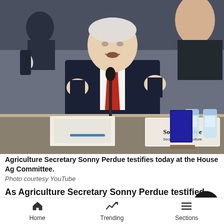[Figure (photo): Agriculture Secretary Sonny Perdue seated at a hearing table with a name placard reading 'The Honorable Sonny Perdue, Secretary of Agriculture', gesturing with both hands while speaking, with water bottles and binders visible on the table.]
Agriculture Secretary Sonny Perdue testifies today at the House Ag Committee.
Photo courtesy YouTube
As Agriculture Secretary Sonny Perdue testified recently before the House Agriculture Committee, Rep. Michael Conaway, R-Texas, the ranking member